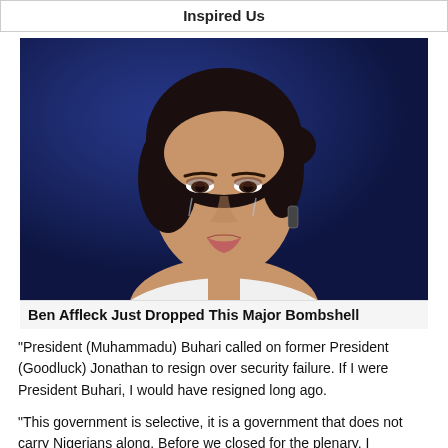Inspired Us
[Figure (photo): Woman with dark hair pulled back, wearing earrings, looking upward with an emotional expression, against a dark blue background]
Ben Affleck Just Dropped This Major Bombshell
“President (Muhammadu) Buhari called on former President (Goodluck) Jonathan to resign over security failure. If I were President Buhari, I would have resigned long ago.
“This government is selective, it is a government that does not carry Nigerians along. Before we closed for the plenary, I